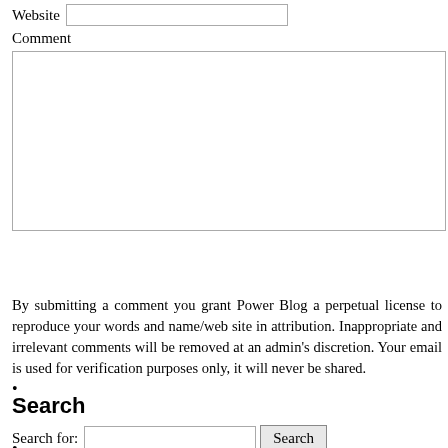Website [input field]
Comment
Submit Comment
By submitting a comment you grant Power Blog a perpetual license to reproduce your words and name/web site in attribution. Inappropriate and irrelevant comments will be removed at an admin's discretion. Your email is used for verification purposes only, it will never be shared.
Search
Search for: [input] Search